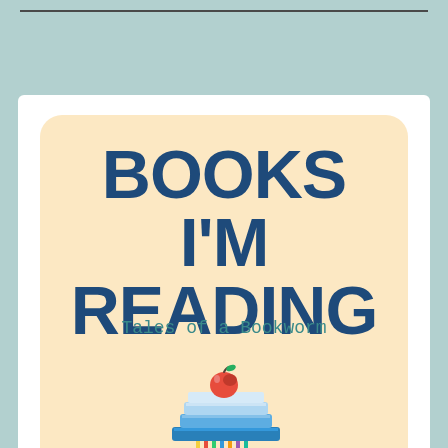BOOKS I'M READING
Tales of a Bookworm
[Figure (illustration): Stack of colorful books with an apple on top and pencils/pens below, illustrated in a cartoon style]